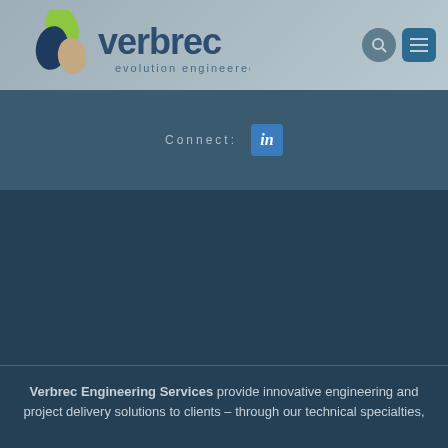[Figure (logo): Verbrec Engineering Services logo with leaf/droplet icon and 'evolution engineered' tagline]
Connect:
[Figure (logo): LinkedIn icon/button]
Verbrec Engineering Services provide innovative engineering and project delivery solutions to clients – through our technical specialties,